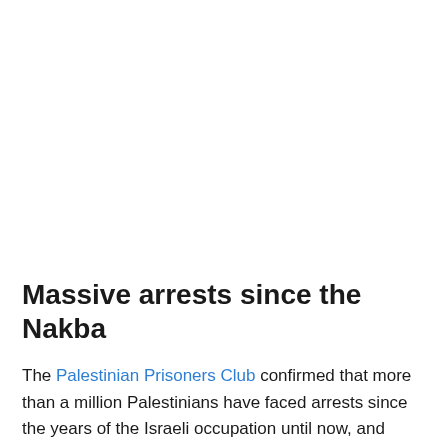Massive arrests since the Nakba
The Palestinian Prisoners Club confirmed that more than a million Palestinians have faced arrests since the years of the Israeli occupation until now, and these systematic operations constituted the most prominent policies it has followed against the Palestinians and Arabs since its